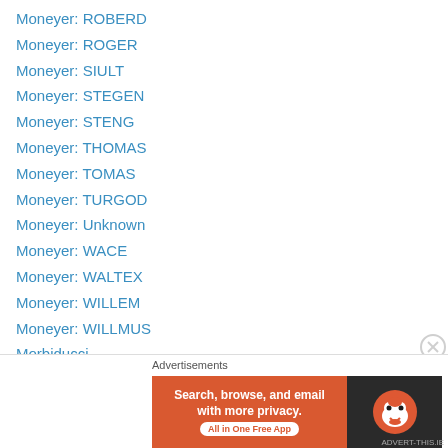Moneyer: ROBERD
Moneyer: ROGER
Moneyer: SIULT
Moneyer: STEGEN
Moneyer: STENG
Moneyer: THOMAS
Moneyer: TOMAS
Moneyer: TURGOD
Moneyer: Unknown
Moneyer: WACE
Moneyer: WALTEX
Moneyer: WILLEM
Moneyer: WILLMUS
Morbiducci
mule
Munster & Leinster Bank
[Figure (screenshot): DuckDuckGo advertisement banner: orange background with text 'Search, browse, and email with more privacy. All in One Free App' and DuckDuckGo duck logo on dark background]